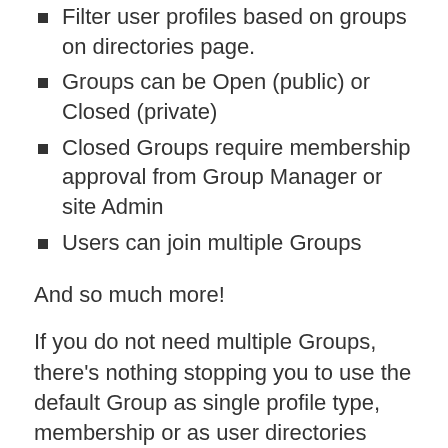Filter user profiles based on groups on directories page.
Groups can be Open (public) or Closed (private)
Closed Groups require membership approval from Group Manager or site Admin
Users can join multiple Groups
And so much more!
If you do not need multiple Groups, there’s nothing stopping you to use the default Group as single profile type, membership or as user directories system. It’s a unique WordPress profile plugin that’s flexible and modular. A lot of stuff can be turned on or off by single click.
ProfileGrid is pretty both on the frontend AND the dashboard area. We understand you spend a lot of time inside the dashboard, therefore, we made ‘sure